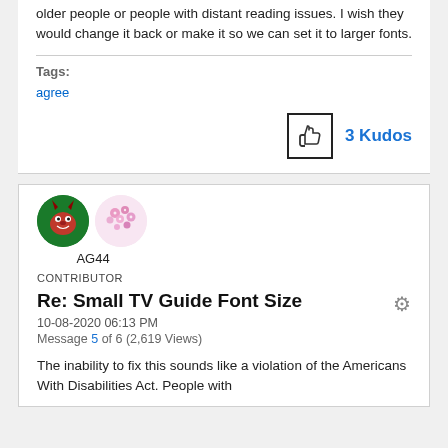older people or people with distant reading issues. I wish they would change it back or make it so we can set it to larger fonts.
Tags:
agree
3 Kudos
[Figure (illustration): Green cartoon dragon avatar and pink flowers avatar for user AG44]
AG44
CONTRIBUTOR
Re: Small TV Guide Font Size
10-08-2020 06:13 PM
Message 5 of 6 (2,619 Views)
The inability to fix this sounds like a violation of the Americans With Disabilities Act. People with...